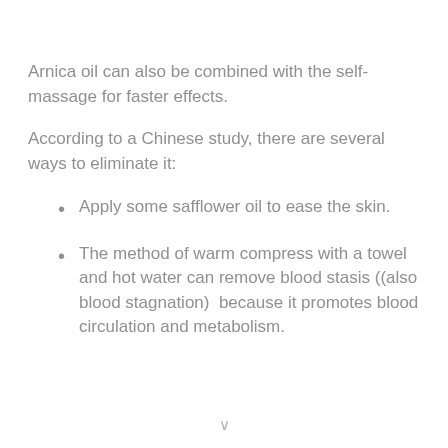Arnica oil can also be combined with the self-massage for faster effects.
According to a Chinese study, there are several ways to eliminate it:
Apply some safflower oil to ease the skin.
The method of warm compress with a towel and hot water can remove blood stasis ((also blood stagnation)  because it promotes blood circulation and metabolism.
v